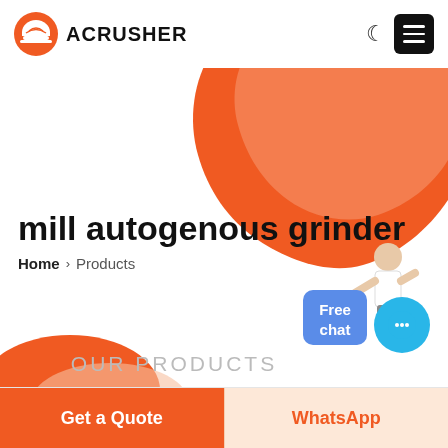[Figure (logo): Acrusher logo with orange hard hat icon and bold text ACRUSHER]
[Figure (illustration): Orange decorative blob shape in top-right corner]
[Figure (illustration): Orange decorative blob shape in bottom-left corner]
mill autogenous grinder
Home > Products
[Figure (illustration): Customer service representative figure with Free chat button]
OUR PRODUCTS
[Figure (illustration): Blue chat circle button with ellipsis icon]
Get a Quote
WhatsApp